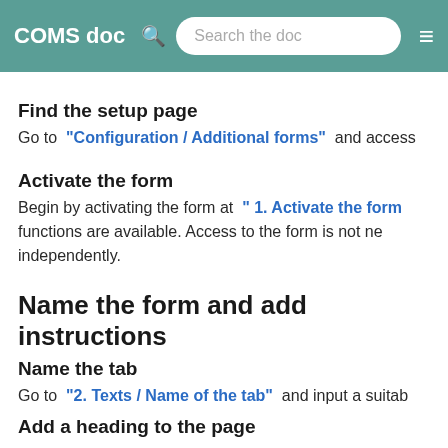COMS doc  Search the doc
Find the setup page
Go to "Configuration / Additional forms" and access
Activate the form
Begin by activating the form at " 1. Activate the form functions are available. Access to the form is not ne independently.
Name the form and add instructions
Name the tab
Go to "2. Texts / Name of the tab" and input a suitab
Add a heading to the page